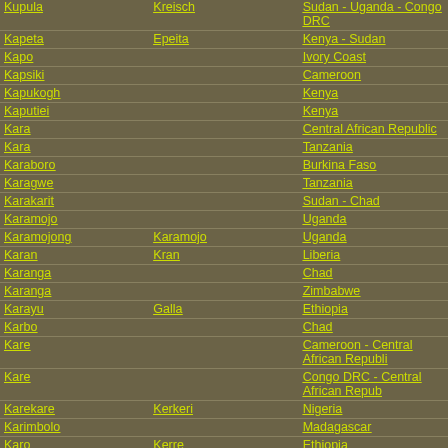| Name | Also Known As | Country/Region |
| --- | --- | --- |
| Kupula | Kreisch | Sudan - Uganda - Congo DRC |
| Kapeta | Epeita | Kenya - Sudan |
| Kapo |  | Ivory Coast |
| Kapsiki |  | Cameroon |
| Kapukogh |  | Kenya |
| Kaputiei |  | Kenya |
| Kara |  | Central African Republic |
| Kara |  | Tanzania |
| Karaboro |  | Burkina Faso |
| Karagwe |  | Tanzania |
| Karakarit |  | Sudan - Chad |
| Karamojo |  | Uganda |
| Karamojong | Karamojo | Uganda |
| Karan | Kran | Liberia |
| Karanga |  | Chad |
| Karanga |  | Zimbabwe |
| Karayu | Galla | Ethiopia |
| Karbo |  | Chad |
| Kare |  | Cameroon - Central African Republi |
| Kare |  | Congo DRC - Central African Repub |
| Karekare | Kerkeri | Nigeria |
| Karimbolo |  | Madagascar |
| Karo | Kerre | Ethiopia |
| Karoko | Didinga | Kenya - Uganda |
| Karoma | Surma | Ethiopia - Sudan |
| Karon | Felup | Gambia - Senegal - Guinea Bissau |
| Karondi |  | Sudan |
| Karra | Kreda | Chad |